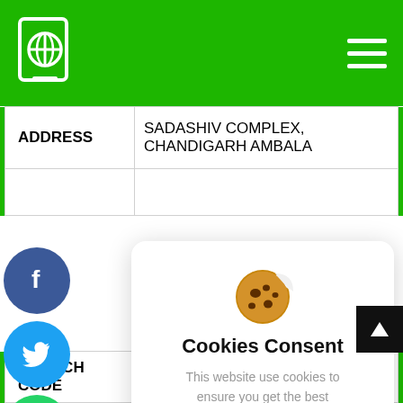[Figure (screenshot): Green navigation header bar with a globe/mobile icon on the left and hamburger menu icon on the right]
| ADDRESS | SADASHIV COMPLEX, CHANDIGARH AMBALA |
| --- | --- |
[Figure (infographic): Cookie consent modal dialog with cookie emoji, title 'Cookies Consent', descriptive text, 'I understand' button and 'Privacy Policy' link. Social share buttons (Facebook, Twitter, WhatsApp, close) on the left side.]
Cookies Consent
This website use cookies to ensure you get the best experience on our website.
| BRANCH CODE | (Last six digits of IFSC code |
| --- | --- |
| 006305 |  |